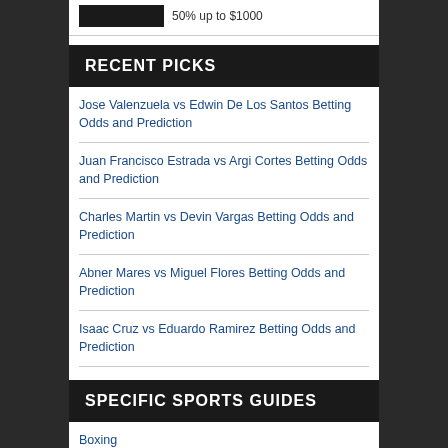50% up to $1000
RECENT PICKS
Jose Valenzuela vs Edwin De Los Santos Betting Odds and Prediction
Juan Francisco Estrada vs Argi Cortes Betting Odds and Prediction
Charles Martin vs Devin Vargas Betting Odds and Prediction
Abner Mares vs Miguel Flores Betting Odds and Prediction
Isaac Cruz vs Eduardo Ramirez Betting Odds and Prediction
SPECIFIC SPORTS GUIDES
Boxing